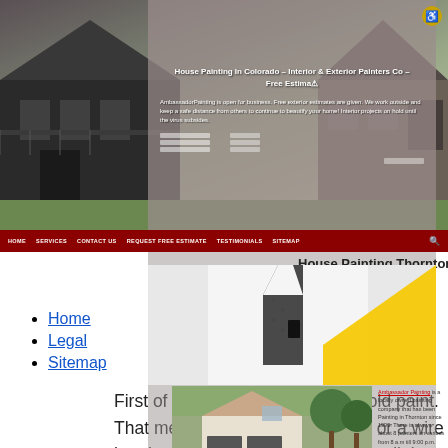[Figure (screenshot): Website header/hero image showing a house painting company website with two house photos, overlay panel with title and description, dark red navigation bar, and accessibility icon]
House Painting Thornton
House Painting In Colorado – Interior & Exterior Painters Co – Free Estima...
AmbassadorPainting is open for business. Free exterior estimates are given. We work outside and keep a safe distance from others to continue to beautify your home! Interior projects on hold until the virus subsides.
cho...
Hous...
Hous... ...ting
Hom...
Need...
[Figure (photo): Photo showing a man in white shirt with dark patterned tie, with yellow geometric shape overlay in lower right]
[Figure (photo): Small photo of a house with garage, green trees in background]
Ambassador Painting is a locally owned painting company that has been Painting in Thornton since 1999. There is always about 8 painters on various from 8 a.m till 9:00 p.m. Ambassador paint projects call for over ten but
Home
Legal
Sitemap
First of all, you have to get rid of old paint. That means, grab a paint scraper or a wire brush and get to work. It might be a little bit time consuming